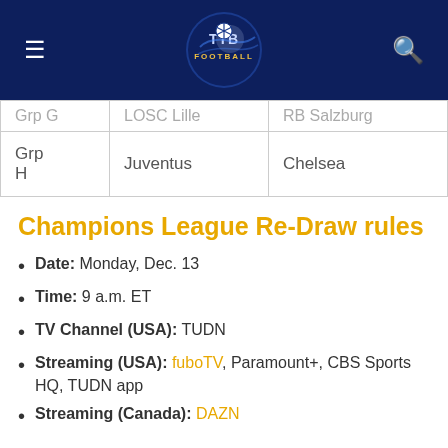TTB Football (logo) — navigation header with menu and search icons
| Grp G | LOSC Lille | RB Salzburg |
| Grp H | Juventus | Chelsea |
Champions League Re-Draw rules
Date: Monday, Dec. 13
Time: 9 a.m. ET
TV Channel (USA): TUDN
Streaming (USA): fuboTV, Paramount+, CBS Sports HQ, TUDN app
Streaming (Canada): DAZN